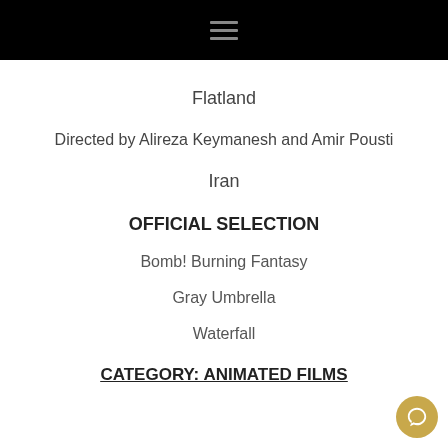Flatland
Directed by Alireza Keymanesh and Amir Pousti
Iran
OFFICIAL SELECTION
Bomb! Burning Fantasy
Gray Umbrella
Waterfall
CATEGORY: ANIMATED FILMS